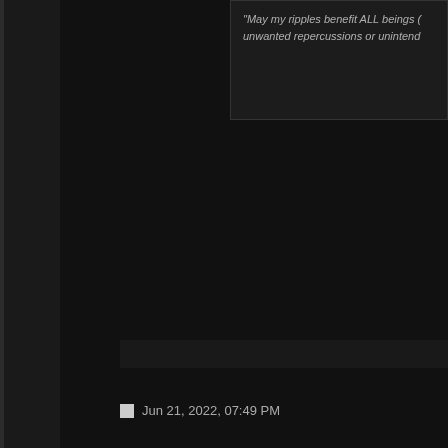"May my ripples benefit ALL beings (... unwanted repercussions or unintend...
Jun 21, 2022, 07:49 PM